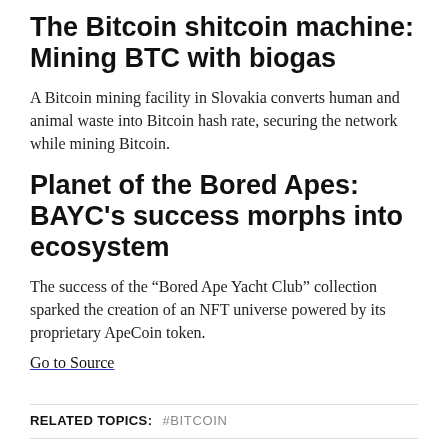The Bitcoin shitcoin machine: Mining BTC with biogas
A Bitcoin mining facility in Slovakia converts human and animal waste into Bitcoin hash rate, securing the network while mining Bitcoin.
Planet of the Bored Apes: BAYC's success morphs into ecosystem
The success of the “Bored Ape Yacht Club” collection sparked the creation of an NFT universe powered by its proprietary ApeCoin token.
Go to Source
RELATED TOPICS:   #BITCOIN
UP NEXT